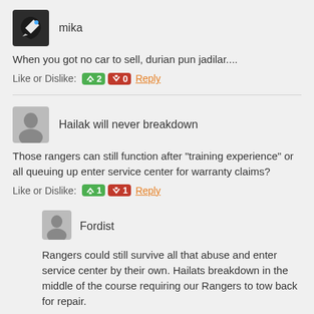[Figure (other): User avatar icon for mika - dark background with rocket/arrow graphic]
mika
When you got no car to sell, durian pun jadilar....
Like or Dislike: 👍 2 👎 0 Reply
[Figure (other): Generic grey user avatar silhouette]
Hailak will never breakdown
Those rangers can still function after "training experience" or all queuing up enter service center for warranty claims?
Like or Dislike: 👍 1 👎 1 Reply
[Figure (other): Generic grey user avatar silhouette]
Fordist
Rangers could still survive all that abuse and enter service center by their own. Hailats breakdown in the middle of the course requiring our Rangers to tow back for repair.
Like or Dislike: 👍 1 👎 1 Reply